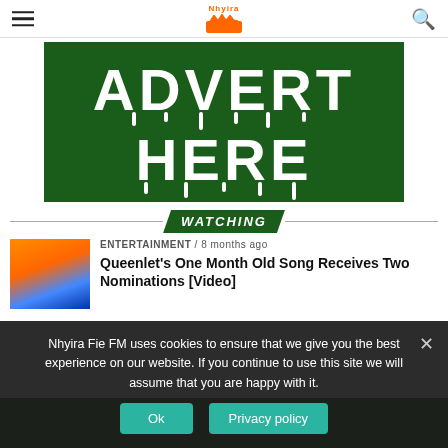Nhyira [logo/navigation header]
[Figure (other): Green advertisement banner with bold white drip-style text reading ADVERT HERE]
WATCHING
ENTERTAINMENT / 8 months ago
Queenlet’s One Month Old Song Receives Two Nominations [Video]
Nhyira Fie FM uses cookies to ensure that we give you the best experience on our website. If you continue to use this site we will assume that you are happy with it.